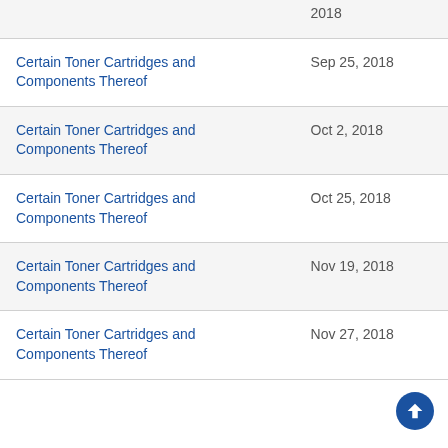| Case/Matter | Date |
| --- | --- |
| Certain Toner Cartridges and Components Thereof | Sep 25, 2018 |
| Certain Toner Cartridges and Components Thereof | Oct 2, 2018 |
| Certain Toner Cartridges and Components Thereof | Oct 25, 2018 |
| Certain Toner Cartridges and Components Thereof | Nov 19, 2018 |
| Certain Toner Cartridges and Components Thereof | Nov 27, 2018 |